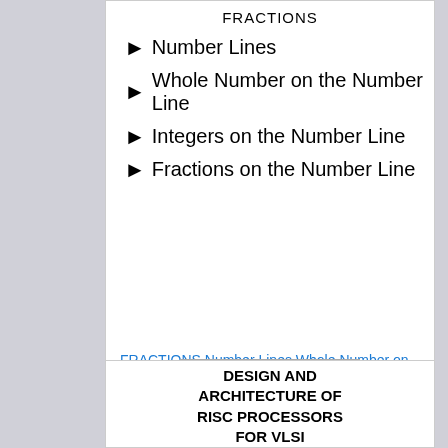FRACTIONS
Number Lines
Whole Number on the Number Line
Integers on the Number Line
Fractions on the Number Line
FRACTIONS Number Lines Whole Number on the Number
DESIGN AND ARCHITECTURE OF RISC PROCESSORS FOR VLSI